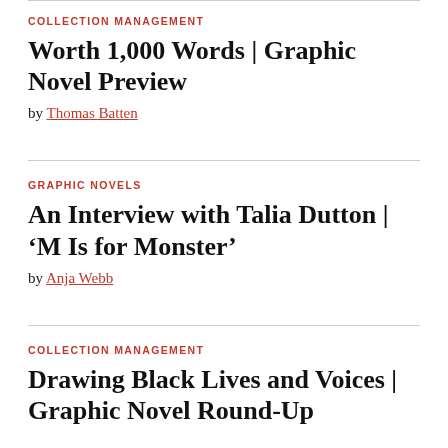COLLECTION MANAGEMENT
Worth 1,000 Words | Graphic Novel Preview
by Thomas Batten
GRAPHIC NOVELS
An Interview with Talia Dutton | ‘M Is for Monster’
by Anja Webb
COLLECTION MANAGEMENT
Drawing Black Lives and Voices | Graphic Novel Round-Up